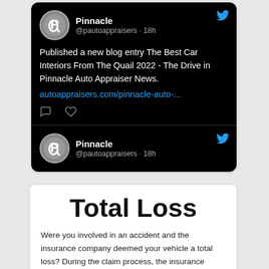[Figure (screenshot): Twitter/social media card showing two Pinnacle (@pautoappraisers) tweets on a black background. First tweet: 'Published a new blog entry The Best Car Interiors From The Quail 2022 - The Drive in Pinnacle Auto Appraiser News. autoappraisers.com/pinnacle-auto-...' with comment and heart icons. Second tweet shows the same account header.]
Total Loss
Were you involved in an accident and the insurance company deemed your vehicle a total loss? During the claim process, the insurance company will make you an offer to settle the claim. If you don't agree with their offer or you are having second thoughts